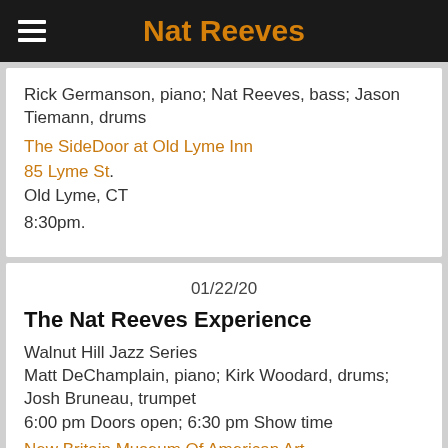Nat Reeves
Rick Germanson, piano; Nat Reeves, bass; Jason Tiemann, drums
The SideDoor at Old Lyme Inn
85 Lyme St.
Old Lyme, CT
8:30pm.
01/22/20
The Nat Reeves Experience
Walnut Hill Jazz Series
Matt DeChamplain, piano; Kirk Woodard, drums; Josh Bruneau, trumpet
6:00 pm Doors open; 6:30 pm Show time
New Britain Museum Of American Art